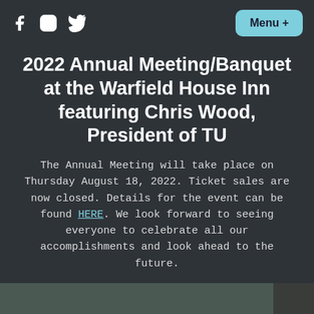Social icons (Facebook, Instagram, Twitter) and Menu + button
2022 Annual Meeting/Banquet at the Warfield House Inn featuring Chris Wood, President of TU
The Annual Meeting will take place on Thursday August 18, 2022. Ticket sales are now closed. Details for the event can be found HERE. We look forward to seeing everyone to celebrate all our accomplishments and look ahead to the future.
[Figure (photo): A rocky river or stream with stones and natural landscape, serving as background image for a welcome section.]
Welcome to the Bearfield River...